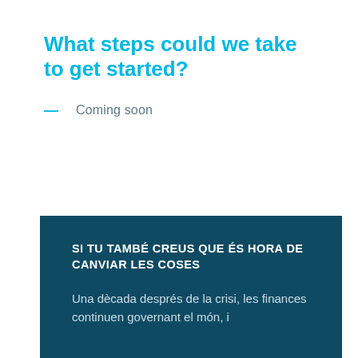What steps could we take to get started?
— Coming soon
SI TU TAMBÉ CREUS QUE ÉS HORA DE CANVIAR LES COSES
Una dècada després de la crisi, les finances continuen governant el món, i